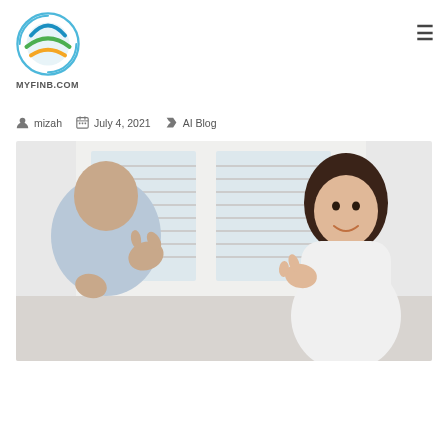MYFINB.COM
mizah   July 4, 2021   AI Blog
[Figure (photo): Two people communicating using sign language in a bright office setting with windows and blinds in background. A woman with dark hair smiles while facing the camera; a man with his back to camera gestures with hands.]